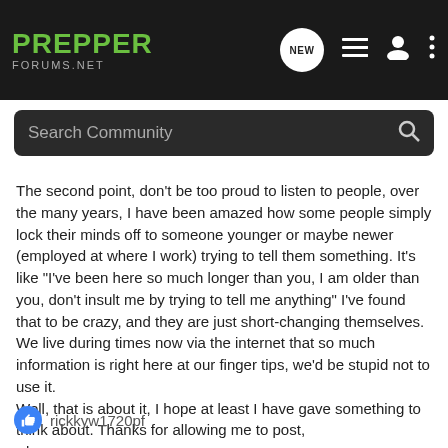[Figure (screenshot): Prepper Forums .NET navigation bar with logo, NEW button, list icon, user icon, and more options icon]
[Figure (screenshot): Search Community input bar with magnifying glass icon]
The second point, don't be too proud to listen to people, over the many years, I have been amazed how some people simply lock their minds off to someone younger or maybe newer (employed at where I work) trying to tell them something. It's like "I've been here so much longer than you, I am older than you, don't insult me by trying to tell me anything" I've found that to be crazy, and they are just short-changing themselves.
We live during times now via the internet that so much information is right here at our finger tips, we'd be stupid not to use it.
Well, that is about it, I hope at least I have gave something to think about. Thanks for allowing me to post,
-dave-
rickkyw1720pf